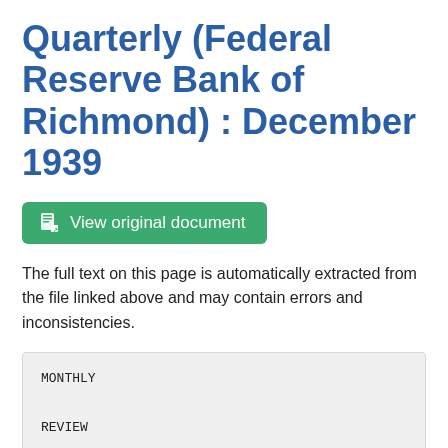Quarterly (Federal Reserve Bank of Richmond) : December 1939
[Figure (other): Green button labeled 'View original document' with a document icon]
The full text on this page is automatically extracted from the file linked above and may contain errors and inconsistencies.
MONTHLY

REVIEW

o f Financial and Business Conditions

F ifth
F ...